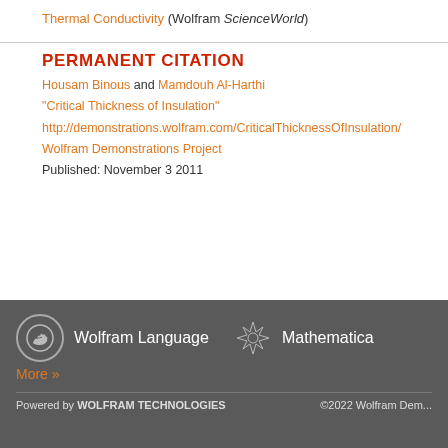Thermal Conductivity (Wolfram ScienceWorld)
PERMANENT CITATION
Housam Binous and Mamdouh Al-Harthi "Critical Thickness of Insulation" http://demonstrations.wolfram.com/CriticalThicknessOfInsulation/ Wolfram Demonstrations Project Published: November 3 2011
Wolfram Language   More »   Mathematica   Powered by WOLFRAM TECHNOLOGIES   ©2022 Wolfram Dem...